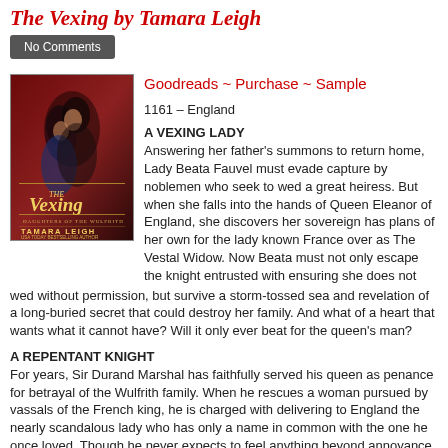The Vexing by Tamara Leigh
No Comments
Goodreads ~ Purchase ~ Sample
[Figure (illustration): Book cover for 'The Vexing' by Tamara Leigh showing a medieval couple about to kiss against a dark red background, with gold script title text and author name at the bottom.]
1161 – England
A VEXING LADY
Answering her father's summons to return home, Lady Beata Fauvel must evade capture by noblemen who seek to wed a great heiress. But when she falls into the hands of Queen Eleanor of England, she discovers her sovereign has plans of her own for the lady known France over as The Vestal Widow. Now Beata must not only escape the knight entrusted with ensuring she does not wed without permission, but survive a storm-tossed sea and revelation of a long-buried secret that could destroy her family. And what of a heart that wants what it cannot have? Will it only ever beat for the queen's man?
A REPENTANT KNIGHT
For years, Sir Durand Marshal has faithfully served his queen as penance for betrayal of the Wulfrith family. When he rescues a woman pursued by vassals of the French king, he is charged with delivering to England the nearly scandalous lady who has only a name in common with the one he once loved. Though he never expects to feel anything beyond annoyance for the outspoken Lady Beata, he finds himself drawn to yet another woman denied him. Can he fulfill his duty to his liege? Or will he forsake